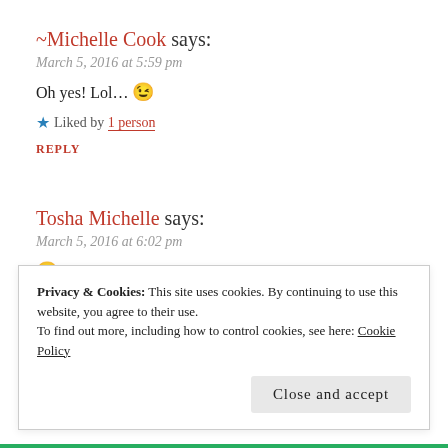~Michelle Cook says:
March 5, 2016 at 5:59 pm
Oh yes! Lol... 😉
★ Liked by 1 person
REPLY
Tosha Michelle says:
March 5, 2016 at 6:02 pm
😉
★ Liked by 1 person
Privacy & Cookies: This site uses cookies. By continuing to use this website, you agree to their use. To find out more, including how to control cookies, see here: Cookie Policy
Close and accept